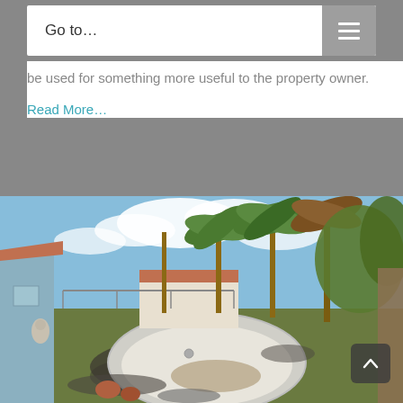Go to…
be used for something more useful to the property owner.
Read More…
[Figure (photo): Outdoor backyard photo showing an empty, deteriorating swimming pool surrounded by gravel and grass, with palm trees and tropical vegetation in the background, and a light blue house wall on the left side.]